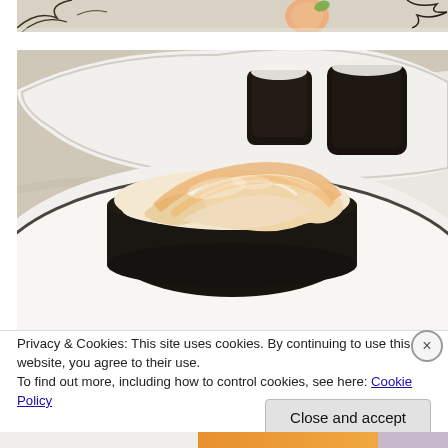[Figure (photo): Top portion of a food photo showing what appears to be a decorative dish or cup with floral pattern in background, cropped at top of page]
[Figure (photo): Photo of sushi on a white plate with dark rim. In the foreground is a gunkan-maki (battleship sushi) piece topped with creamy white/orange seafood (likely scallop or similar). In the background on another plate are dark nori-wrapped sushi pieces.]
Privacy & Cookies: This site uses cookies. By continuing to use this website, you agree to their use.
To find out more, including how to control cookies, see here: Cookie Policy
Close and accept